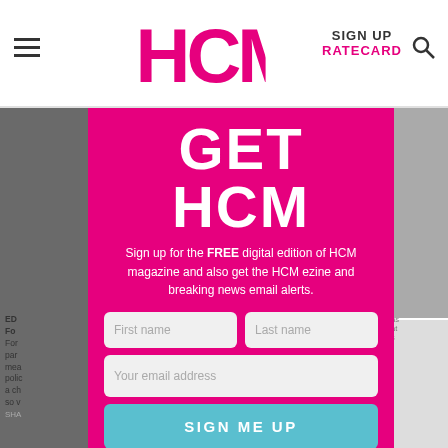HCM — SIGN UP / RATECARD
[Figure (infographic): HCM magazine website screenshot showing a modal signup form overlay on pink/magenta background with 'GET HCM' heading, sign-up form fields for first name, last name, email address, a 'SIGN ME UP' button, and a 'Not right now, thanks' dismiss link]
GET HCM
Sign up for the FREE digital edition of HCM magazine and also get the HCM ezine and breaking news email alerts.
First name
Last name
Your email address
SIGN ME UP
Not right now, thanks